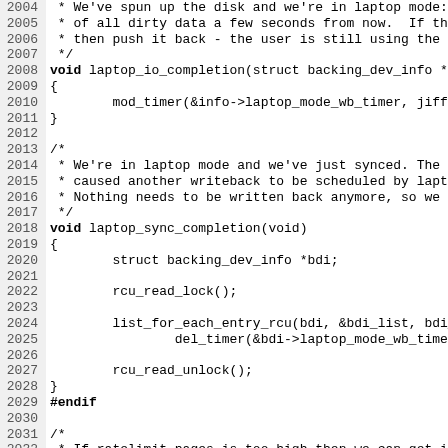Source code listing, lines 2004-2035, showing C code for laptop_io_completion and laptop_sync_completion functions